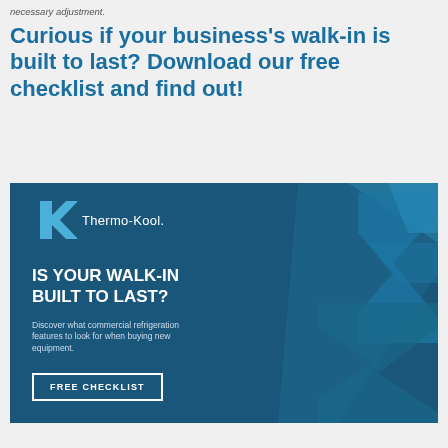necessary adjustment.
Curious if your business's walk-in is built to last? Download our free checklist and find out!
[Figure (infographic): Thermo-Kool branded banner with dark blue background and decorative diagonal K shapes. Headline: IS YOUR WALK-IN BUILT TO LAST? Subtext: Discover what commercial refrigeration features to look for when buying new equipment. Button: FREE CHECKLIST]